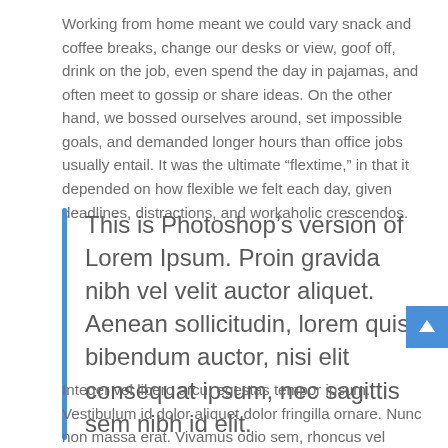Working from home meant we could vary snack and coffee breaks, change our desks or view, goof off, drink on the job, even spend the day in pajamas, and often meet to gossip or share ideas. On the other hand, we bossed ourselves around, set impossible goals, and demanded longer hours than office jobs usually entail. It was the ultimate “flextime,” in that it depended on how flexible we felt each day, given deadlines, distractions, and workaholic crescendos.
This is Photoshop’s version of Lorem Ipsum. Proin gravida nibh vel velit auctor aliquet. Aenean sollicitudin, lorem quis bibendum auctor, nisi elit consequat ipsum, nec sagittis sem nibh id elit.
Integer vel libero arcu, egestas tempor ipsum. Vestibulum id dolor aliquet dolor fringilla ornare. Nunc non massa erat. Vivamus odio sem, rhoncus vel bibendum vitae, euismod a urna. Aliquam erat volutpat